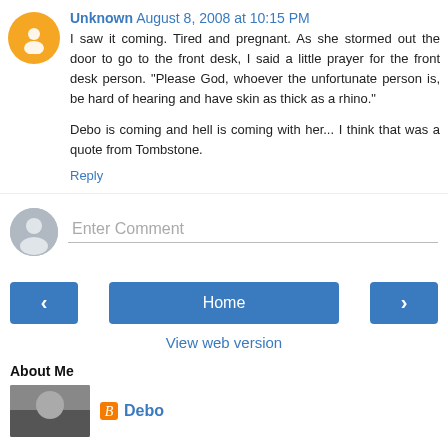Unknown August 8, 2008 at 10:15 PM
I saw it coming. Tired and pregnant. As she stormed out the door to go to the front desk, I said a little prayer for the front desk person. "Please God, whoever the unfortunate person is, be hard of hearing and have skin as thick as a rhino."

Debo is coming and hell is coming with her... I think that was a quote from Tombstone.
Reply
Enter Comment
Home
View web version
About Me
Debo